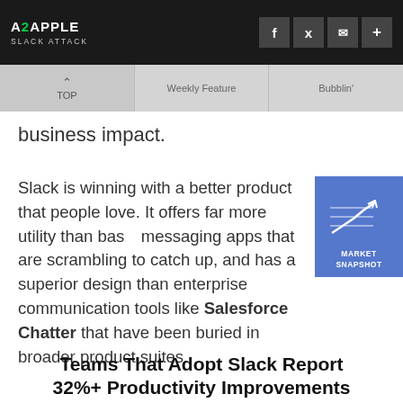A2APPLE SLACK ATTACK
business impact.
Slack is winning with a better product that people love. It offers far more utility than basic messaging apps that are scrambling to catch up, and has a superior design than enterprise communication tools like Salesforce Chatter that have been buried in broader product suites.
[Figure (infographic): Market Snapshot badge with upward trending arrow chart on blue background]
Teams That Adopt Slack Report 32%+ Productivity Improvements